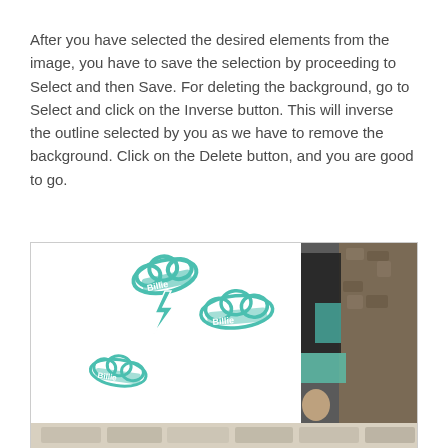After you have selected the desired elements from the image, you have to save the selection by proceeding to Select and then Save. For deleting the background, go to Select and click on the Inverse button. This will inverse the outline selected by you as we have to remove the background. Click on the Delete button, and you are good to go.
[Figure (screenshot): A composite image showing graphic design elements (teal/mint colored crown and lightning bolt sticker designs on white background on the left half) and a photo of a person near a rocky wall on the right half, with more content below.]